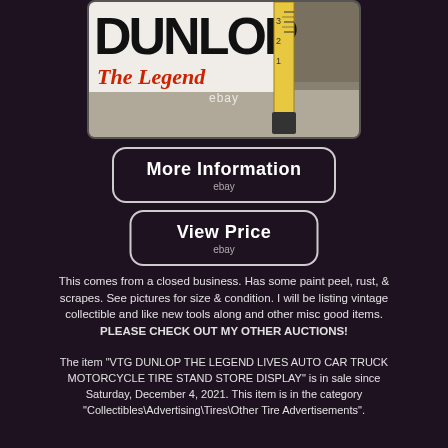[Figure (photo): Photo of a Dunlop tire store display sign with a measuring tape showing size. Text visible includes 'DUNLOP' and 'The Legend' in red italic. eBay watermark visible.]
More Information
ebay
View Price
ebay
This comes from a closed business. Has some paint peel, rust, & scrapes. See pictures for size & condition. I will be listing vintage collectible and like new tools along and other misc good items. PLEASE CHECK OUT MY OTHER AUCTIONS!
The item "VTG DUNLOP THE LEGEND LIVES AUTO CAR TRUCK MOTORCYCLE TIRE STAND STORE DISPLAY" is in sale since Saturday, December 4, 2021. This item is in the category "Collectibles\Advertising\Tires\Other Tire Advertisements".